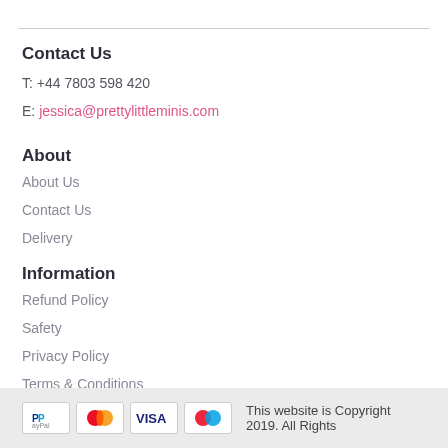Contact Us
T: +44 7803 598 420
E: jessica@prettylittleminis.com
About
About Us
Contact Us
Delivery
Information
Refund Policy
Safety
Privacy Policy
Terms & Conditions
This website is Copyright 2019. All Rights Reserved.